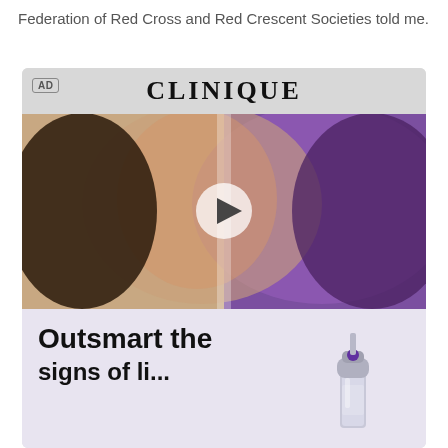Federation of Red Cross and Red Crescent Societies told me.
[Figure (advertisement): Clinique advertisement featuring a split-image of a woman's face (natural lighting on left half, purple light on right half) with a video play button overlay. Below is a product bottle image. Text reads 'Outsmart the'. AD label in top-left corner.]